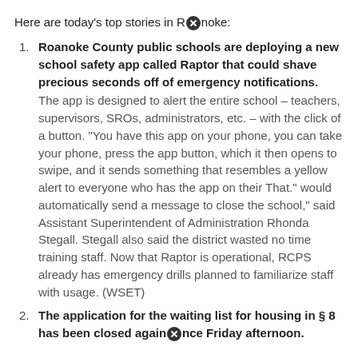Here are today's top stories in Roanoke:
Roanoke County public schools are deploying a new school safety app called Raptor that could shave precious seconds off of emergency notifications. The app is designed to alert the entire school – teachers, supervisors, SROs, administrators, etc. – with the click of a button. "You have this app on your phone, you can take your phone, press the app button, which it then opens to swipe, and it sends something that resembles a yellow alert to everyone who has the app on their That." would automatically send a message to close the school," said Assistant Superintendent of Administration Rhonda Stegall. Stegall also said the district wasted no time training staff. Now that Raptor is operational, RCPS already has emergency drills planned to familiarize staff with usage. (WSET)
The application for the waiting list for housing in § 8 has been closed again since Friday afternoon.